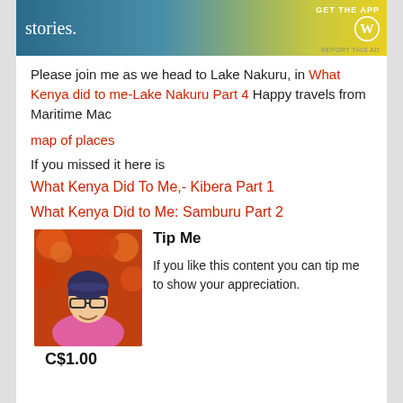[Figure (screenshot): Ad banner with gradient background, 'stories.' text, 'GET THE APP' and WordPress logo, 'REPORT THIS AD' label]
Please join me as we head to Lake Nakuru, in What Kenya did to me-Lake Nakuru Part 4 Happy travels from Maritime Mac
map of places
If you missed it here is
What Kenya Did To Me,- Kibera Part 1
What Kenya Did to Me: Samburu Part 2
Tip Me
[Figure (photo): Portrait photo of a woman with glasses smiling, surrounded by orange flowers]
If you like this content you can tip me to show your appreciation.
C$1.00